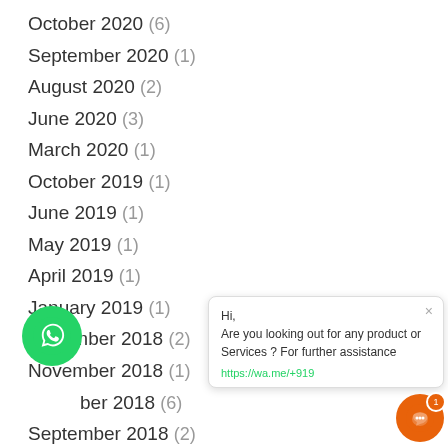October 2020 (6)
September 2020 (1)
August 2020 (2)
June 2020 (3)
March 2020 (1)
October 2019 (1)
June 2019 (1)
May 2019 (1)
April 2019 (1)
January 2019 (1)
December 2018 (2)
November 2018 (1)
[October] 2018 (6)
September 2018 (2)
August 2018 (2)
[Figure (other): WhatsApp chat widget with message: Hi, Are you looking out for any product or Services ? For further assistance https://wa.me/+919...]